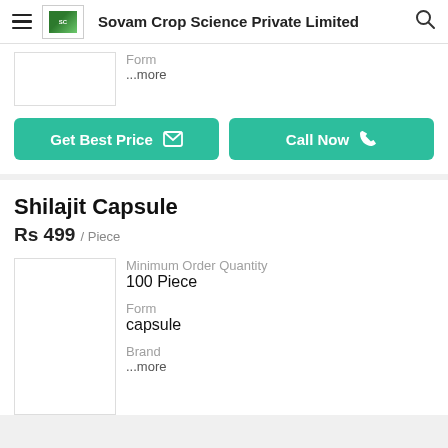Sovam Crop Science Private Limited
Form
...more
Get Best Price   Call Now
Shilajit Capsule
Rs 499 / Piece
Minimum Order Quantity
100 Piece
Form
capsule
Brand
...more